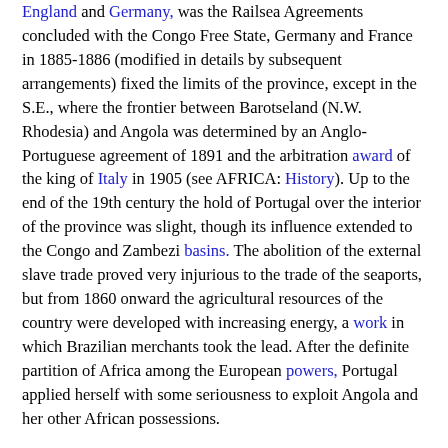England and Germany, was the Railsea Agreements concluded with the Congo Free State, Germany and France in 1885-1886 (modified in details by subsequent arrangements) fixed the limits of the province, except in the S.E., where the frontier between Barotseland (N.W. Rhodesia) and Angola was determined by an Anglo-Portuguese agreement of 1891 and the arbitration award of the king of Italy in 1905 (see AFRICA: History). Up to the end of the 19th century the hold of Portugal over the interior of the province was slight, though its influence extended to the Congo and Zambezi basins. The abolition of the external slave trade proved very injurious to the trade of the seaports, but from 1860 onward the agricultural resources of the country were developed with increasing energy, a work in which Brazilian merchants took the lead. After the definite partition of Africa among the European powers, Portugal applied herself with some seriousness to exploit Angola and her other African possessions.
Nevertheless, in comparison with its natural wealth the development of the country has been slow. Slavery and the slave trade continued to flourish in the interior in the early years of the 20th century, despite the prohibitions of the Portuguese government. The extension of authority over the inland tribes proceeded very slowly and was not